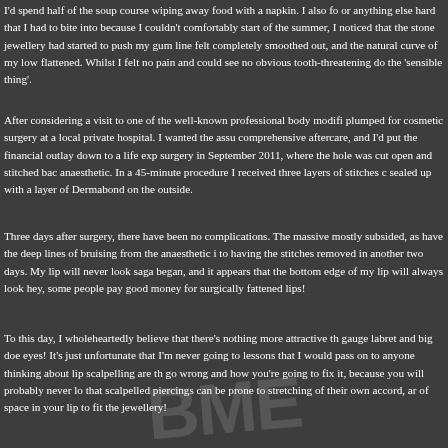I'd spend half of the soup course wiping away food with a napkin. I also fo or anything else hard that I had to bite into because I couldn't comfortably start of the summer, I noticed that the stone jewellery had started to push my gum line felt completely smoothed out, and the natural curve of my low flattened. Whilst I felt no pain and could see no obvious tooth-threatening do the 'sensible thing'.
After considering a visit to one of the well-known professional body modifi plumped for cosmetic surgery at a local private hospital. I wanted the assu comprehensive aftercare, and I'd put the financial outlay down to a life exp surgery in September 2011, where the hole was cut open and stitched bac anaesthetic. In a 45-minute procedure I received three layers of stitches c sealed up with a layer of Dermabond on the outside.
Three days after surgery, there have been no complications. The massive mostly subsided, as have the deep lines of bruising from the anaesthetic i to having the stitches removed in another two days. My lip will never look saga began, and it appears that the bottom edge of my lip will always look hey, some people pay good money for surgically fattened lips!
To this day, I wholeheartedly believe that there's nothing more attractive th gauge labret and big doe eyes! It's just unfortunate that I'm never going to lessons that I would pass on to anyone thinking about lip scalpelling are th go wrong and how you're going to fix it, because you will probably never lo that scalpelled piercings can be prone to stretching of their own accord, ar of space in your lip to fit the jewellery!